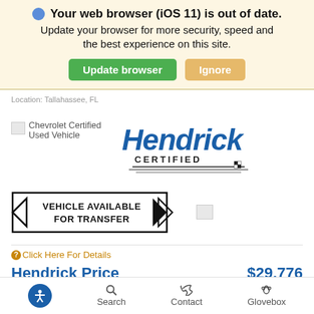Your web browser (iOS 11) is out of date. Update your browser for more security, speed and the best experience on this site.
Update browser | Ignore
Location: Tallahassee, FL
[Figure (logo): Chevrolet Certified Used Vehicle badge (broken image) and Hendrick Certified logo]
[Figure (other): Vehicle Available For Transfer sign with arrows pointing left and right]
Click Here For Details
Hendrick Price   $29,776
Accessibility  Search  Contact  Glovebox